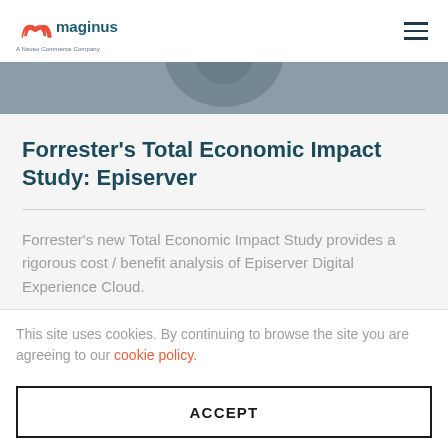[Figure (logo): Maginus logo with red/orange M icon and teal 'maginus' wordmark, tagline 'A Nuveo Commerce Company']
[Figure (photo): Partial image strip showing a person, cropped at top of content area]
Forrester's Total Economic Impact Study: Episerver
Forrester's new Total Economic Impact Study provides a rigorous cost / benefit analysis of Episerver Digital Experience Cloud.
This site uses cookies. By continuing to browse the site you are agreeing to our cookie policy.
ACCEPT